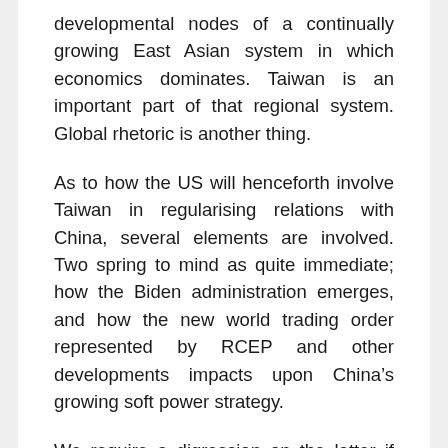developmental nodes of a continually growing East Asian system in which economics dominates. Taiwan is an important part of that regional system. Global rhetoric is another thing.
As to how the US will henceforth involve Taiwan in regularising relations with China, several elements are involved. Two spring to mind as quite immediate; how the Biden administration emerges, and how the new world trading order represented by RCEP and other developments impacts upon China's growing soft power strategy.
We require a digression on the latter if only to identify my own biases – despite the stupidity of